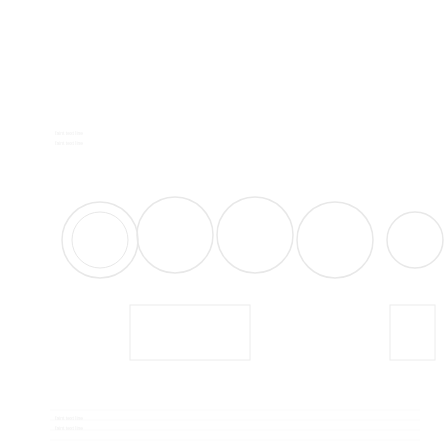[Figure (other): Very faint/washed out document page with scientific figures and text, nearly invisible against white background. Content appears to include molecular or schematic diagrams with associated text labels and captions, but is too faint to read with certainty.]